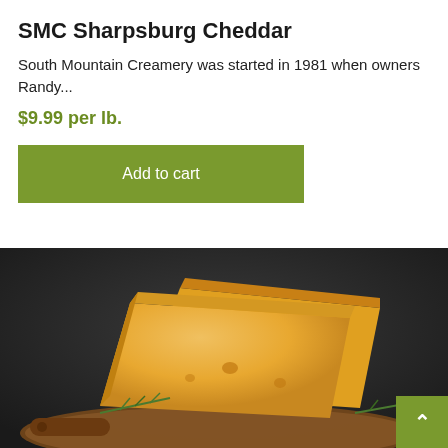SMC Sharpsburg Cheddar
South Mountain Creamery was started in 1981 when owners Randy...
$9.99 per lb.
Add to cart
[Figure (photo): Wedges of yellow/orange cheddar cheese on a wooden cutting board with rosemary, dark background]